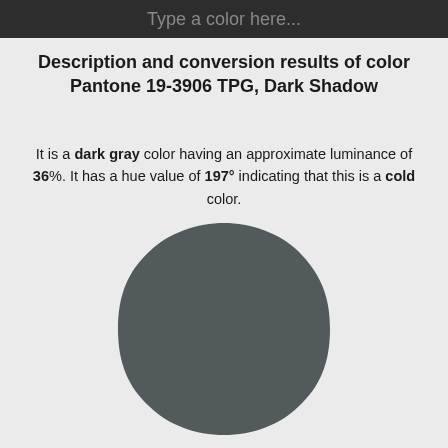Type a color here...
Description and conversion results of color Pantone 19-3906 TPG, Dark Shadow
It is a dark gray color having an approximate luminance of 36%. It has a hue value of 197° indicating that this is a cold color.
[Figure (illustration): A large rounded hexagonal color swatch filled with dark gray color (#525a5c), representing Pantone 19-3906 TPG Dark Shadow.]